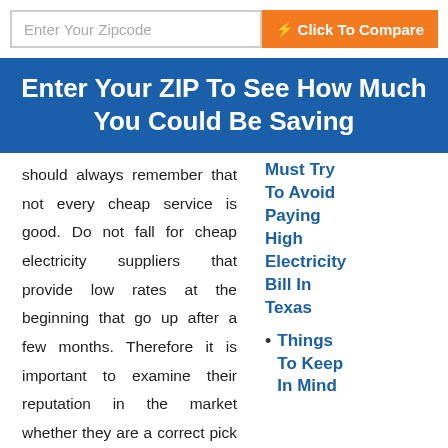[Figure (screenshot): Zipcode input field with placeholder 'Enter Your Zipcode' and an orange 'Click To Compare' button]
Enter Your ZIP To See How Much You Could Be Saving
should always remember that not every cheap service is good. Do not fall for cheap electricity suppliers that provide low rates at the beginning that go up after a few months. Therefore it is important to examine their reputation in the market whether they are a correct pick or not.
Must Try To Avoid Paying High Electricity Bill In Texas
Things To Keep In Mind